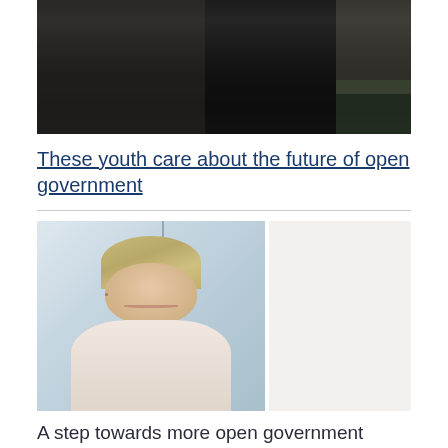[Figure (photo): Person wearing black top photographed outdoors, upper body, dark clothing against stone/brick background]
These youth care about the future of open government
[Figure (photo): Middle-aged woman with short blonde hair smiling, wearing light pink/white striped top, photographed indoors with bright background]
A step towards more open government